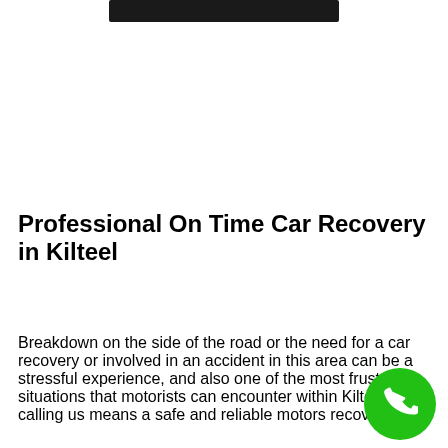[Figure (photo): Dark banner image at the top of the page]
Professional On Time Car Recovery in Kilteel
Breakdown on the side of the road or the need for a car recovery or involved in an accident in this area can be a stressful experience, and also one of the most frustrating situations that motorists can encounter within Kilteel area, calling us means a safe and reliable motors recovery.